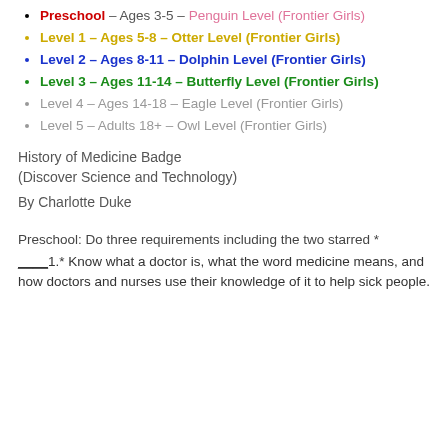Preschool – Ages 3-5 – Penguin Level (Frontier Girls)
Level 1 – Ages 5-8 – Otter Level (Frontier Girls)
Level 2 – Ages 8-11 – Dolphin Level (Frontier Girls)
Level 3 – Ages 11-14 – Butterfly Level (Frontier Girls)
Level 4 – Ages 14-18 – Eagle Level (Frontier Girls)
Level 5 – Adults 18+ – Owl Level (Frontier Girls)
History of Medicine Badge
(Discover Science and Technology)
By Charlotte Duke
Preschool: Do three requirements including the two starred *
____1.* Know what a doctor is, what the word medicine means, and how doctors and nurses use their knowledge of it to help sick people.